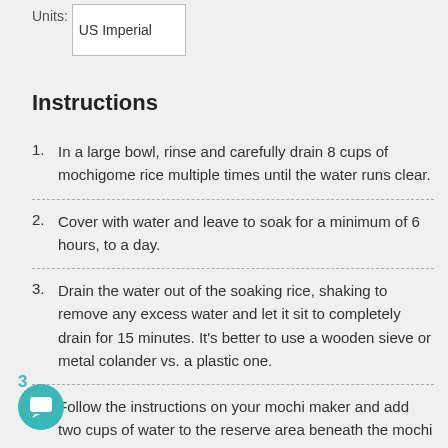| Units: | US Imperial |
| --- | --- |
Instructions
In a large bowl, rinse and carefully drain 8 cups of mochigome rice multiple times until the water runs clear.
Cover with water and leave to soak for a minimum of 6 hours, to a day.
Drain the water out of the soaking rice, shaking to remove any excess water and let it sit to completely drain for 15 minutes. It's better to use a wooden sieve or metal colander vs. a plastic one.
Follow the instructions on your mochi maker and add two cups of water to the reserve area beneath the mochi maker bowl. Attach the bowl and stirring mechanism